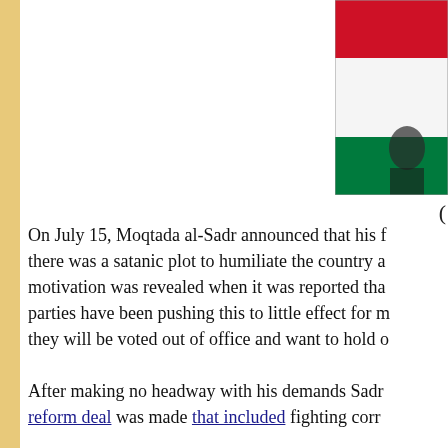[Figure (photo): Partial photograph showing the Iraqi flag (red, white, green stripes) and a figure, cropped at the right edge of the page]
On July 15, Moqtada al-Sadr announced that his there was a satanic plot to humiliate the country a motivation was revealed when it was reported tha parties have been pushing this to little effect for m they will be voted out of office and want to hold o
After making no headway with his demands Sadr reform deal was made that included fighting corr